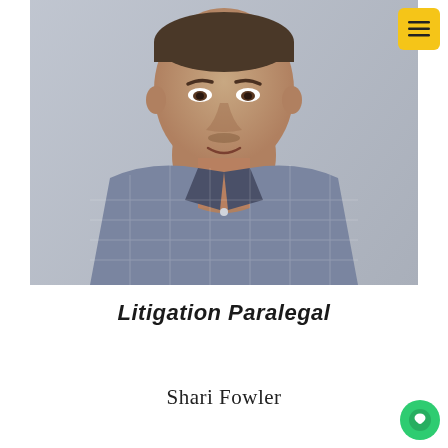[Figure (photo): Headshot photo of a man wearing a blue checkered collared shirt, photographed from roughly chest-up against a grey background.]
Litigation Paralegal
Shari Fowler